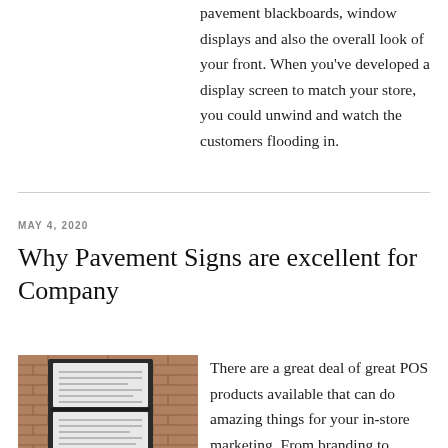pavement blackboards, window displays and also the overall look of your front. When you've developed a display screen to match your store, you could unwind and watch the customers flooding in.
MAY 4, 2020
Why Pavement Signs are excellent for Company
[Figure (photo): Photo of a pavement sign with posted notices mounted against a brick wall]
There are a great deal of great POS products available that can do amazing things for your in-store marketing. From branding to promoting sales, you could use them